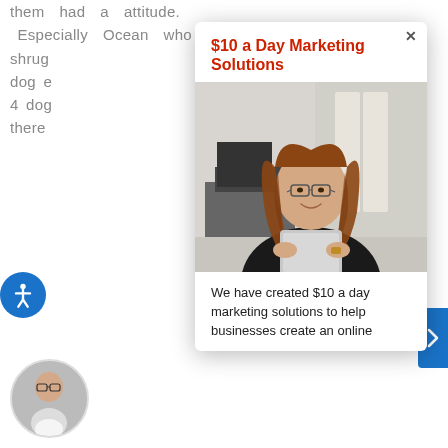them had a attitude. Especially Ocean who shrug dog e 4 dog there
$10 a Day Marketing Solutions
[Figure (photo): Professional businesswoman with glasses, long wavy brown hair, wearing a black blazer, holding a tablet/iPad in an office setting]
We have created $10 a day marketing solutions to help businesses create an online